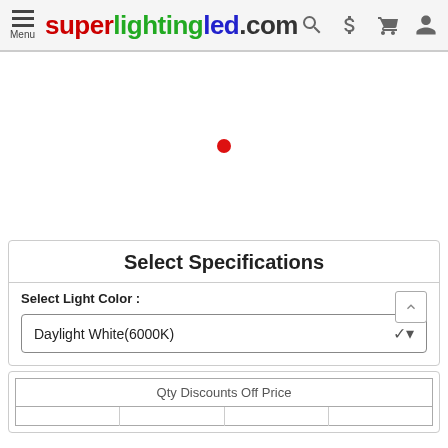superlightingled.com — Menu, Search, $, Cart, Account
[Figure (other): Product image area with a single red dot indicator in the center]
Select Specifications
Select Light Color :
Daylight White(6000K)
| Qty Discounts Off Price |
| --- |
|  |  |  |  |